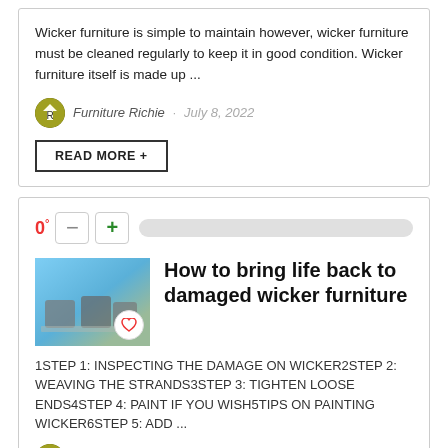Wicker furniture is simple to maintain however, wicker furniture must be cleaned regularly to keep it in good condition. Wicker furniture itself is made up ...
Furniture Richie · July 8, 2022
READ MORE +
0°
How to bring life back to damaged wicker furniture
1STEP 1: INSPECTING THE DAMAGE ON WICKER2STEP 2: WEAVING THE STRANDS3STEP 3: TIGHTEN LOOSE ENDS4STEP 4: PAINT IF YOU WISH5TIPS ON PAINTING WICKER6STEP 5: ADD ...
Furniture Richie · July 8, 2022
READ MORE +